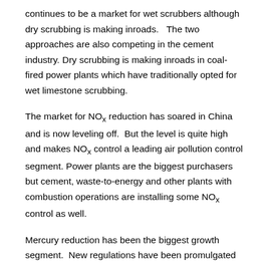continues to be a market for wet scrubbers although dry scrubbing is making inroads.   The two approaches are also competing in the cement industry. Dry scrubbing is making inroads in coal-fired power plants which have traditionally opted for wet limestone scrubbing.
The market for NOx reduction has soared in China and is now leveling off.  But the level is quite high and makes NOx control a leading air pollution control segment. Power plants are the biggest purchasers but cement, waste-to-energy and other plants with combustion operations are installing some NOx control as well.
Mercury reduction has been the biggest growth segment.  New regulations have been promulgated